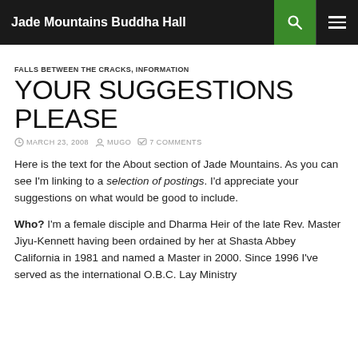Jade Mountains Buddha Hall
FALLS BETWEEN THE CRACKS, INFORMATION
YOUR SUGGESTIONS PLEASE
MARCH 23, 2008   MUGO   7 COMMENTS
Here is the text for the About section of Jade Mountains. As you can see I'm linking to a selection of postings. I'd appreciate your suggestions on what would be good to include.
Who? I'm a female disciple and Dharma Heir of the late Rev. Master Jiyu-Kennett having been ordained by her at Shasta Abbey California in 1981 and named a Master in 2000. Since 1996 I've served as the international O.B.C. Lay Ministry